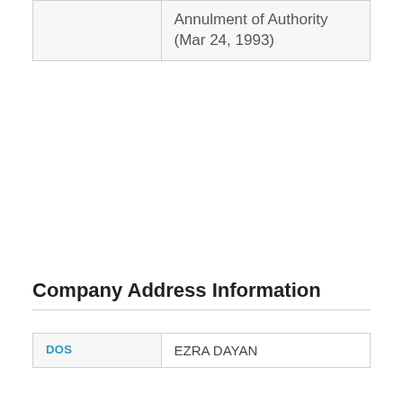|  | Annulment of Authority (Mar 24, 1993) |
Company Address Information
| DOS | EZRA DAYAN |